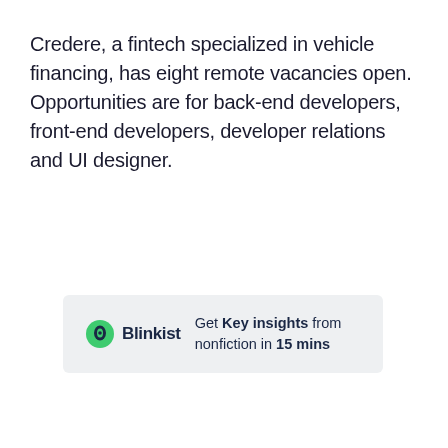Credere, a fintech specialized in vehicle financing, has eight remote vacancies open. Opportunities are for back-end developers, front-end developers, developer relations and UI designer.
[Figure (other): Blinkist advertisement banner with green leaf logo, bold 'Blinkist' text, and tagline 'Get Key insights from nonfiction in 15 mins']